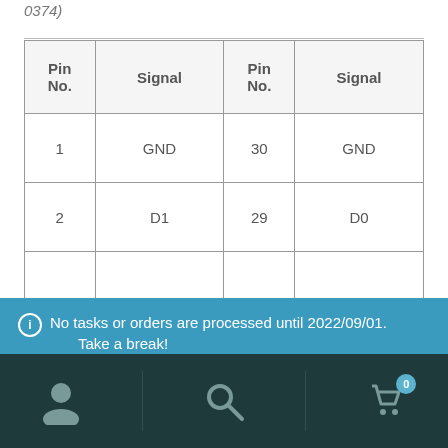0374)
| Pin No. | Signal | Pin No. | Signal |
| --- | --- | --- | --- |
| 1 | GND | 30 | GND |
| 2 | D1 | 29 | D0 |
|  |  |  |  |
No tasks or orders are processed until 2022/09/01. Take a break! Dismiss
[Figure (other): Mobile navigation bar with user icon, search icon, and shopping cart icon with badge showing 0]